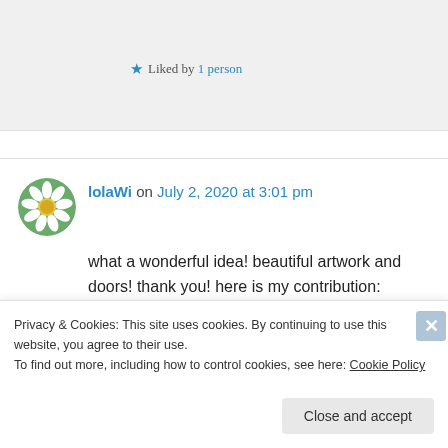Thank you and sorry for the late reply 😊
★ Liked by 1 person
lolaWi on July 2, 2020 at 3:01 pm
what a wonderful idea! beautiful artwork and doors! thank you! here is my contribution: https://lolawi.blog/2020/07/02/doors-at-st-mary-margaret/
★ Liked by 1 person
Privacy & Cookies: This site uses cookies. By continuing to use this website, you agree to their use.
To find out more, including how to control cookies, see here: Cookie Policy